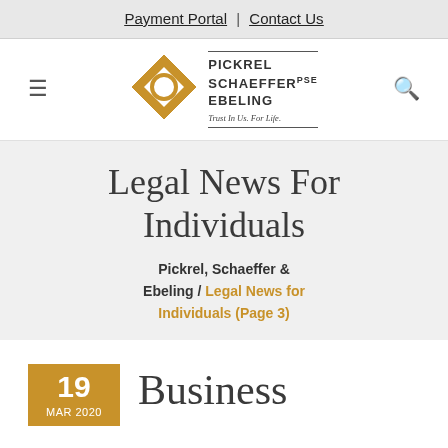Payment Portal | Contact Us
[Figure (logo): Pickrel Schaeffer & Ebeling law firm logo with diamond-shaped icon and tagline 'Trust In Us. For Life.']
Legal News For Individuals
Pickrel, Schaeffer & Ebeling / Legal News for Individuals (Page 3)
19 MAR 2020  Business